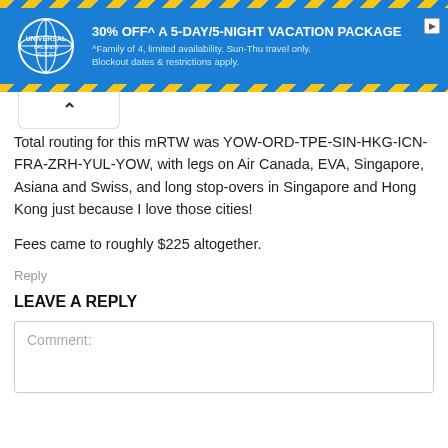[Figure (infographic): Universal Orlando Resort advertisement banner: '30% OFF^ A 5-DAY/5-NIGHT VACATION PACKAGE'. Blue background with yellow diagonal stripes borders. Logo on left, ad text on right.]
Total routing for this mRTW was YOW-ORD-TPE-SIN-HKG-ICN-FRA-ZRH-YUL-YOW, with legs on Air Canada, EVA, Singapore, Asiana and Swiss, and long stop-overs in Singapore and Hong Kong just because I love those cities!
Fees came to roughly $225 altogether.
Reply
LEAVE A REPLY
Comment: